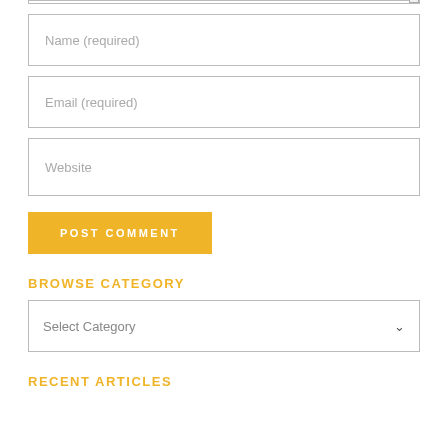[Figure (screenshot): Web form with Name (required), Email (required), Website input fields, a POST COMMENT button, a BROWSE CATEGORY dropdown, and RECENT ARTICLES section header]
Name (required)
Email (required)
Website
POST COMMENT
BROWSE CATEGORY
Select Category
RECENT ARTICLES